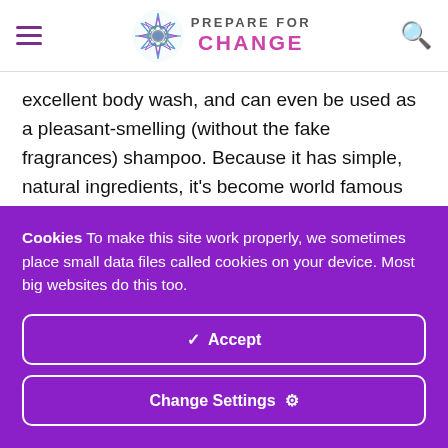PREPARE FOR CHANGE
excellent body wash, and can even be used as a pleasant-smelling (without the fake fragrances) shampoo. Because it has simple, natural ingredients, it's become world famous for its versatility and lack of toxicity.
But Castile soap can be a tiny bit strong sometimes. So, to
Cookies To make this site work properly, we sometimes place small data files called cookies on your device. Most big websites do this too.
✔ Accept
Change Settings ⚙